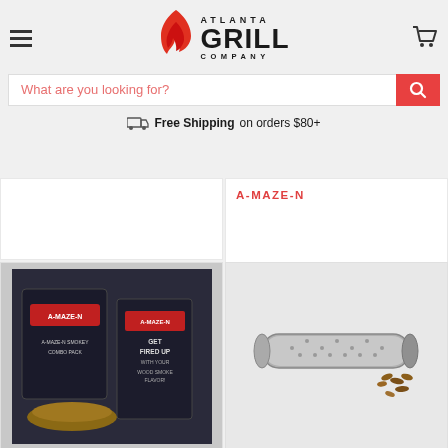[Figure (logo): Atlanta Grill Company logo with red flame graphic and bold text]
What are you looking for?
Free Shipping on orders $80+
A-MAZE-N
[Figure (photo): A-MAZE-N smoker combo pack product box with pellets and starter kit]
[Figure (photo): Stainless steel tube smoker with wood chips spilling out]